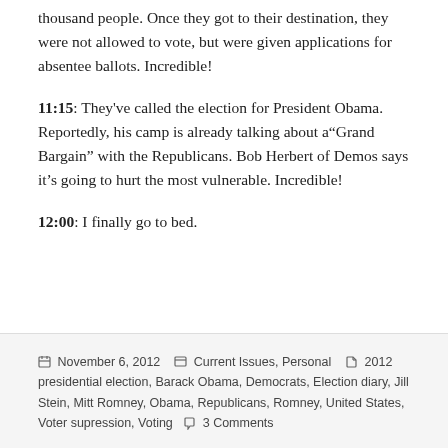thousand people. Once they got to their destination, they were not allowed to vote, but were given applications for absentee ballots. Incredible!
11:15: They've called the election for President Obama. Reportedly, his camp is already talking about a"Grand Bargain" with the Republicans. Bob Herbert of Demos says it's going to hurt the most vulnerable. Incredible!
12:00: I finally go to bed.
Posted on November 6, 2012  Categories: Current Issues, Personal  Tags: 2012 presidential election, Barack Obama, Democrats, Election diary, Jill Stein, Mitt Romney, Obama, Republicans, Romney, United States, Voter supression, Voting  3 Comments